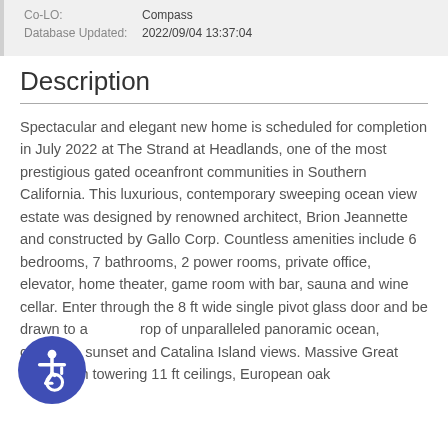Co-LO: Compass
Database Updated: 2022/09/04 13:37:04
Description
Spectacular and elegant new home is scheduled for completion in July 2022 at The Strand at Headlands, one of the most prestigious gated oceanfront communities in Southern California. This luxurious, contemporary sweeping ocean view estate was designed by renowned architect, Brion Jeannette and constructed by Gallo Corp. Countless amenities include 6 bedrooms, 7 bathrooms, 2 power rooms, private office, elevator, home theater, game room with bar, sauna and wine cellar. Enter through the 8 ft wide single pivot glass door and be drawn to a backdrop of unparalleled panoramic ocean, coastline, sunset and Catalina Island views. Massive Great Room with towering 11 ft ceilings, European oak